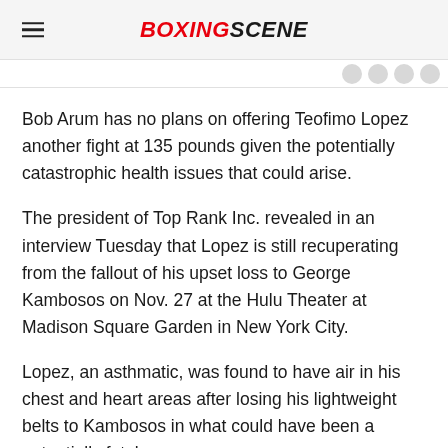BOXINGSCENE
Bob Arum has no plans on offering Teofimo Lopez another fight at 135 pounds given the potentially catastrophic health issues that could arise.
The president of Top Rank Inc. revealed in an interview Tuesday that Lopez is still recuperating from the fallout of his upset loss to George Kambosos on Nov. 27 at the Hulu Theater at Madison Square Garden in New York City.
Lopez, an asthmatic, was found to have air in his chest and heart areas after losing his lightweight belts to Kambosos in what could have been a potentially fatal